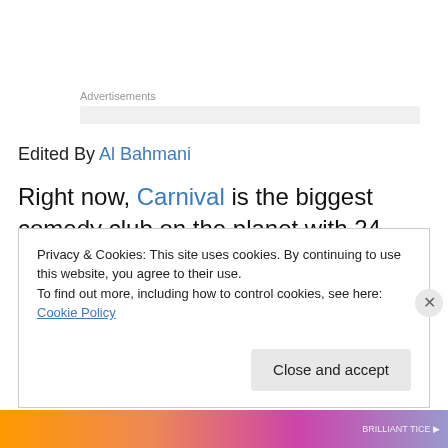Advertisements
Edited By Al Bahmani
Right now, Carnival is the biggest comedy club on the planet with 24 ships employing 96 headliners a week.
<
Privacy & Cookies: This site uses cookies. By continuing to use this website, you agree to their use.
To find out more, including how to control cookies, see here: Cookie Policy
Close and accept